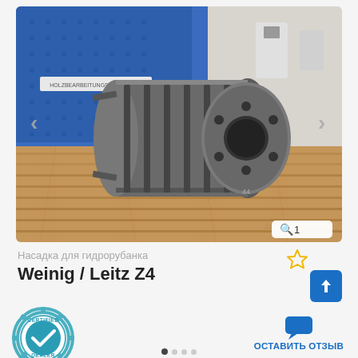[Figure (photo): A large cylindrical woodworking milling cutter/spindle attachment (Weinig/Leitz Z4 planer head) lying on a wooden floor surface. Background shows blue pegboard wall. Navigation arrows visible on left and right sides of the image frame. Photo count badge showing magnifier icon and '1' in bottom right corner.]
Насадка для гидрорубанка
Weinig / Leitz Z4
[Figure (logo): Certified Dealer circular badge/stamp with gear border, teal/blue colors, checkmark in center circle, text CERTIFIED at top and DEALER at bottom]
ОСТАВИТЬ ОТЗЫВ